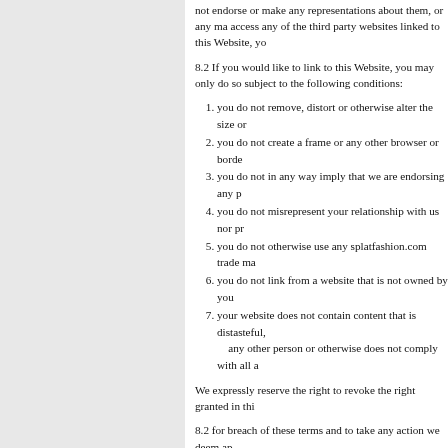not endorse or make any representations about them, or any ma access any of the third party websites linked to this Website, yo
8.2 If you would like to link to this Website, you may only do so subject to the following conditions:
1. you do not remove, distort or otherwise alter the size or
2. you do not create a frame or any other browser or borde
3. you do not in any way imply that we are endorsing any p
4. you do not misrepresent your relationship with us nor pr
5. you do not otherwise use any splatfashion.com trade ma
6. you do not link from a website that is not owned by you
7. your website does not contain content that is distasteful, any other person or otherwise does not comply with all a
We expressly reserve the right to revoke the right granted in thi
8.2 for breach of these terms and to take any action we deem ap
8.3 You shall fully indemnify us for any loss or damage we or a
9. Registration
9.1 To register with splatfashion.com you must be over eighteen
9.2 Each registration is for a single user only. We do not permit users on a network.
9.3 Responsibility for the security of any passwords issued rest should contact us immediately.